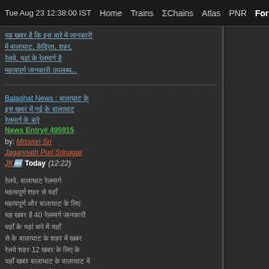Tue Aug 23 12:38:00 IST   Home   Trains   ΣChains   Atlas   PNR   Forum   Quiz F
(Hindi text - blurred news content paragraph 1)
Balaghat News : (Hindi text) News Entry# 495915 by: Mission Sri Jagannath Puri Srinagar JK  Today (12:22)
(Hindi text body - blurred news content paragraph 2 containing 40 and 12)
(Hindi text - blurred news link at bottom)